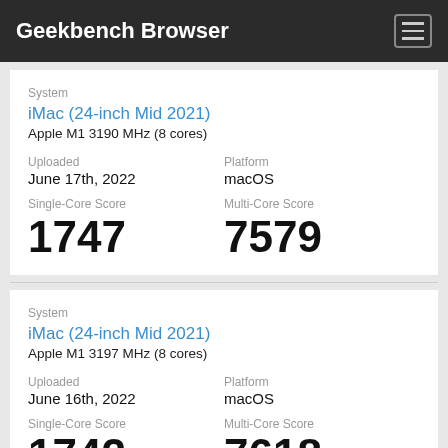Geekbench Browser
System
iMac (24-inch Mid 2021)
Apple M1 3190 MHz (8 cores)
Uploaded: June 17th, 2022
Platform: macOS
Single-Core Score: 1747
Multi-Core Score: 7579
System
iMac (24-inch Mid 2021)
Apple M1 3197 MHz (8 cores)
Uploaded: June 16th, 2022
Platform: macOS
Single-Core Score: 1742
Multi-Core Score: 7618